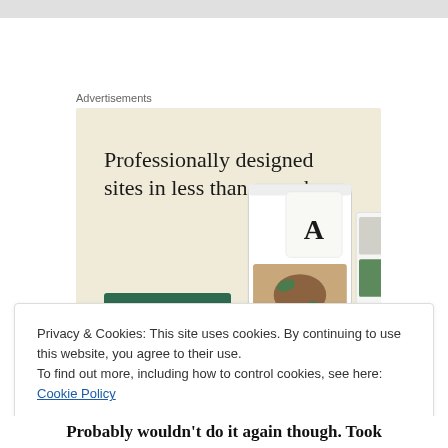Advertisements
[Figure (screenshot): Advertisement banner with beige/cream background. Headline reads 'Professionally designed sites in less than a week' with a green 'Explore options' button and website screenshots on the right side.]
Privacy & Cookies: This site uses cookies. By continuing to use this website, you agree to their use.
To find out more, including how to control cookies, see here: Cookie Policy
Close and accept
Probably wouldn't do it again though. Took